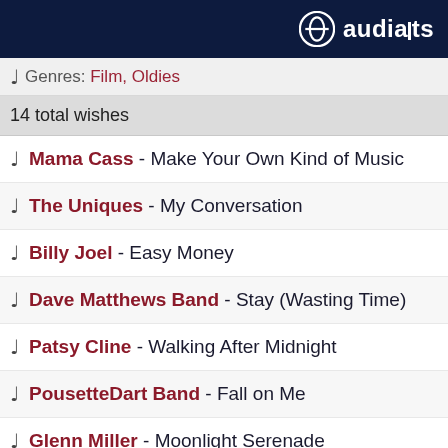audiarts
Genres: Film, Oldies
14 total wishes
Mama Cass - Make Your Own Kind of Music
The Uniques - My Conversation
Billy Joel - Easy Money
Dave Matthews Band - Stay (Wasting Time)
Patsy Cline - Walking After Midnight
PousetteDart Band - Fall on Me
Glenn Miller - Moonlight Serenade
Perry Como - Catch a Falling Star
The Seeds - Pushin' Too Hard